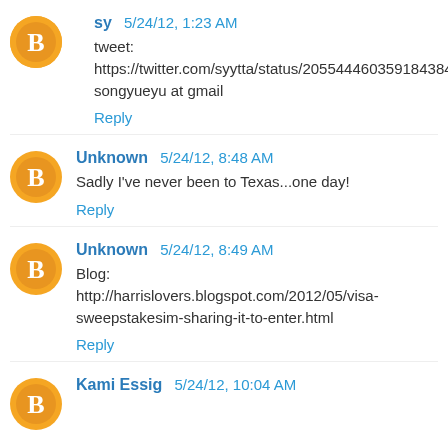sy 5/24/12, 1:23 AM
tweet: https://twitter.com/syytta/status/205544460359184384
songyueyu at gmail
Reply
Unknown 5/24/12, 8:48 AM
Sadly I've never been to Texas...one day!
Reply
Unknown 5/24/12, 8:49 AM
Blog: http://harrislovers.blogspot.com/2012/05/visa-sweepstakesim-sharing-it-to-enter.html
Reply
Kami Essig 5/24/12, 10:04 AM